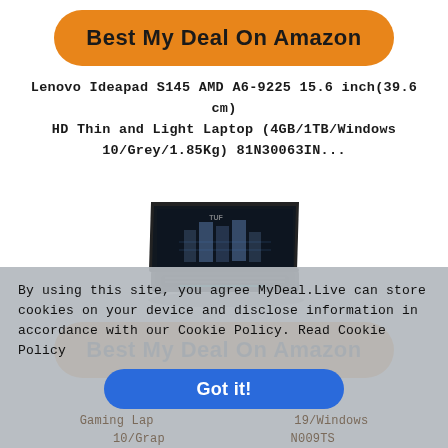Best My Deal On Amazon
Lenovo Ideapad S145 AMD A6-9225 15.6 inch(39.6 cm) HD Thin and Light Laptop (4GB/1TB/Windows 10/Grey/1.85Kg) 81N30063IN...
[Figure (photo): A dark gaming laptop (ASUS TUF style) open at an angle, showing a backlit keyboard and a screen with a dark game/graphic on it.]
Best My Deal On Amazon
AMD Gaming Lap... ...19/Windows 10/Grap... ...N009TS
By using this site, you agree MyDeal.Live can store cookies on your device and disclose information in accordance with our Cookie Policy. Read Cookie Policy
Got it!